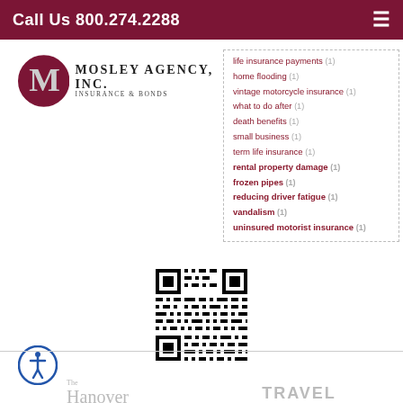Call Us 800.274.2288
[Figure (logo): Mosley Agency Inc. Insurance & Bonds logo with decorative M emblem]
life insurance payments (1)
home flooding (1)
vintage motorcycle insurance (1)
what to do after (1)
death benefits (1)
small business (1)
term life insurance (1)
rental property damage (1)
frozen pipes (1)
reducing driver fatigue (1)
vandalism (1)
uninsured motorist insurance (1)
[Figure (other): QR code linking to Mosley Agency Inc. website]
[Figure (logo): Accessibility icon - person in circle]
[Figure (logo): The Hanover insurance partner logo]
[Figure (logo): Travelers insurance partner logo]